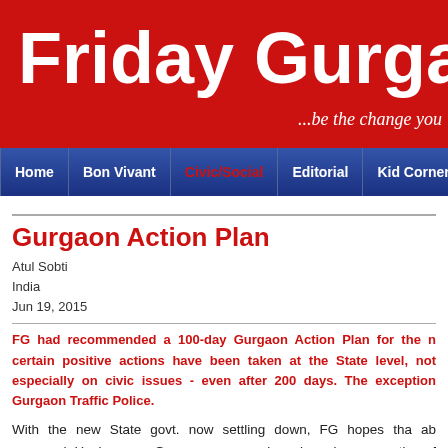Friday Gurgaon ...be the change you
[Figure (other): Friday Gurgaon website header banner with red background, white bold title text and italic subtitle]
Home | Bon Vivant | Civic/Social | Editorial | Kid Corner |
Gurgaon Action Plan
Atul Sobti
India
Jun 19, 2015
FG had recommended a 100-day Gurgaon Action Plan for the n certain positive actions have been taken at the State level, not especially on civic issues - even after 200 days. The exception Gurgaon Traffic Police.
With the new State govt. now settling down, FG hopes tha ab aayenge'. Having seen Gurgaon up very close, in mul cross-section of people for over 3 years, we believe th beneficial for the citizens of Gurgaon.